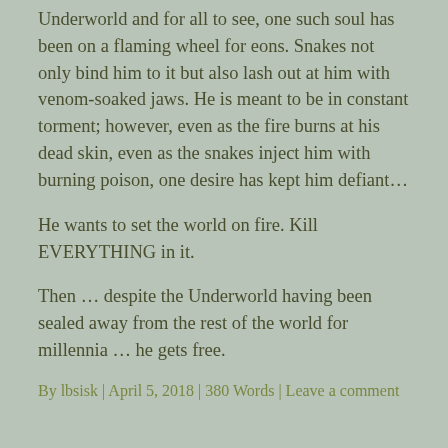Underworld and for all to see, one such soul has been on a flaming wheel for eons. Snakes not only bind him to it but also lash out at him with venom-soaked jaws. He is meant to be in constant torment; however, even as the fire burns at his dead skin, even as the snakes inject him with burning poison, one desire has kept him defiant…
He wants to set the world on fire. Kill EVERYTHING in it.
Then … despite the Underworld having been sealed away from the rest of the world for millennia … he gets free.
By lbsisk | April 5, 2018 | 380 Words | Leave a comment